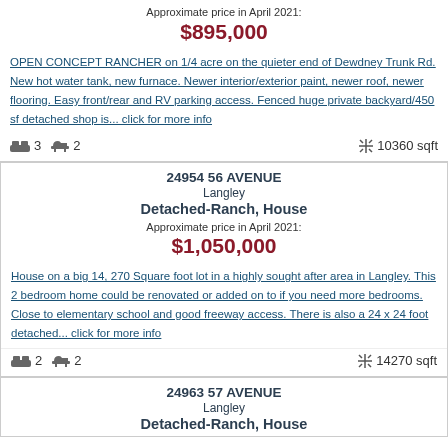Approximate price in April 2021:
$895,000
OPEN CONCEPT RANCHER on 1/4 acre on the quieter end of Dewdney Trunk Rd. New hot water tank, new furnace. Newer interior/exterior paint, newer roof, newer flooring. Easy front/rear and RV parking access. Fenced huge private backyard/450 sf detached shop is... click for more info
3  2  10360 sqft
24954 56 AVENUE
Langley
Detached-Ranch, House
Approximate price in April 2021:
$1,050,000
House on a big 14, 270 Square foot lot in a highly sought after area in Langley. This 2 bedroom home could be renovated or added on to if you need more bedrooms. Close to elementary school and good freeway access. There is also a 24 x 24 foot detached... click for more info
2  2  14270 sqft
24963 57 AVENUE
Langley
Detached-Ranch, House